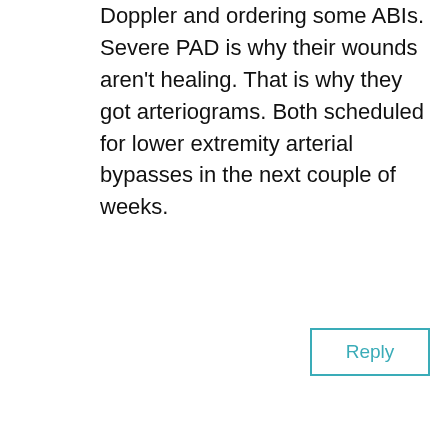Doppler and ordering some ABIs. Severe PAD is why their wounds aren't healing. That is why they got arteriograms. Both scheduled for lower extremity arterial bypasses in the next couple of weeks.
Reply
Leave a Reply
Enter your comment here...